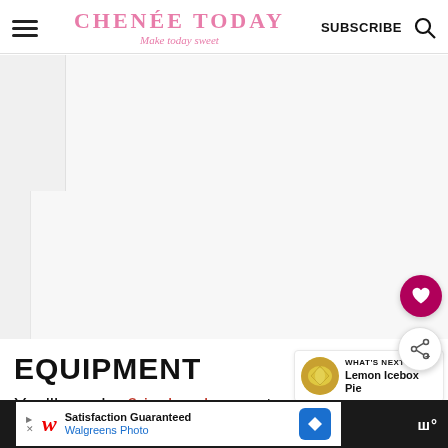CHENÉE TODAY — Make today sweet | SUBSCRIBE
[Figure (screenshot): Advertisement/image placeholder area at top of page — light gray box with left sidebar]
[Figure (screenshot): Advertisement/image placeholder area — second gray box with left sidebar, heart and share floating buttons on right]
EQUIPMENT
[Figure (infographic): WHAT'S NEXT → Lemon Icebox Pie — small circular thumbnail image of a lemon pie slice next to text]
You'll need a 6-inch cake pan to make this m[ore details cut off]
[Figure (screenshot): Walgreens Photo advertisement banner at bottom: 'Satisfaction Guaranteed / Walgreens Photo' with navigation arrow icon]